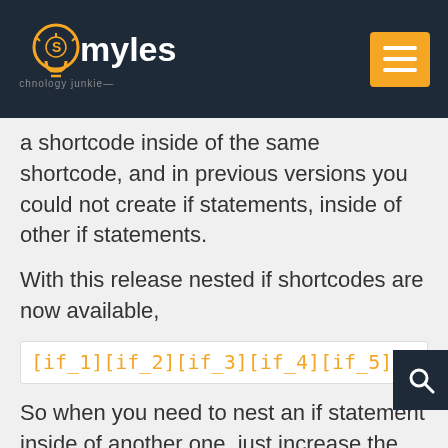Smyles — technology junkie
a shortcode inside of the same shortcode, and in previous versions you could not create if statements, inside of other if statements.
With this release nested if shortcodes are now available,
[if_1][if_2][if_3][if_4][if_5][if_6][if_7][i
So when you need to nest an if statement inside of another one, just increase the number on the shortcode, and you're good to go! Please note that your [else] and